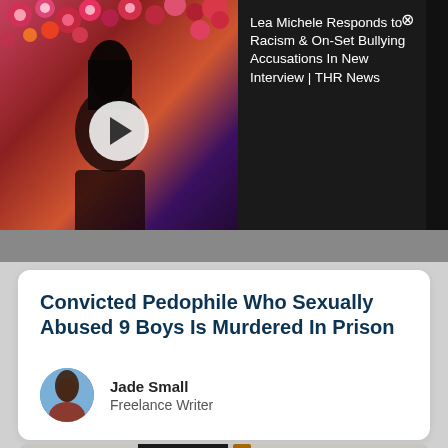[Figure (screenshot): Video thumbnail showing a woman in a black outfit in front of colorful flowers, with a play button overlay. Adjacent dark panel shows text: 'Lea Michele Responds to Racism & On-Set Bullying Accusations In New Interview | THR News' with a close button.]
Convicted Pedophile Who Sexually Abused 9 Boys Is Murdered In Prison
Jade Small
Freelance Writer
[Figure (photo): Partial photo of a person in jeans holding a baseball bat, photographed from mid-torso down against a gray background.]